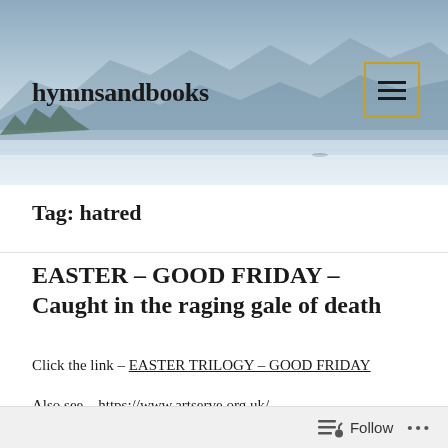[Figure (photo): Scenic landscape photo of a lake with mountains in the background and mist, used as website header banner]
hymnsandbooks
Tag: hatred
EASTER – GOOD FRIDAY – Caught in the raging gale of death
Click the link – EASTER TRILOGY – GOOD FRIDAY
Also see – https://www.artserve.org.uk/
Follow ...